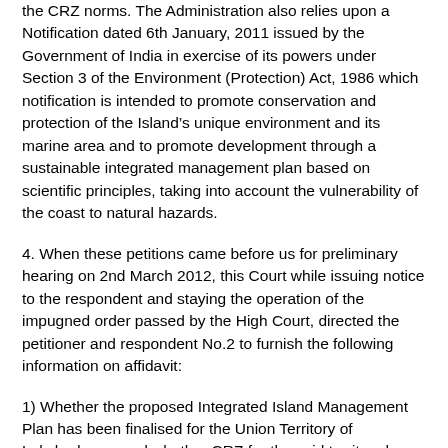the CRZ norms. The Administration also relies upon a Notification dated 6th January, 2011 issued by the Government of India in exercise of its powers under Section 3 of the Environment (Protection) Act, 1986 which notification is intended to promote conservation and protection of the Island’s unique environment and its marine area and to promote development through a sustainable integrated management plan based on scientific principles, taking into account the vulnerability of the coast to natural hazards.
4. When these petitions came before us for preliminary hearing on 2nd March 2012, this Court while issuing notice to the respondent and staying the operation of the impugned order passed by the High Court, directed the petitioner and respondent No.2 to furnish the following information on affidavit:
1) Whether the proposed Integrated Island Management Plan has been finalised for the Union Territory of Lakshadweep and whether CRZ for the said territory has been notified? 2) If the CRZ has not been notified or the plan has not been finalised, the reasons for delay and the stage at which the matter rests at present and the particulars of the